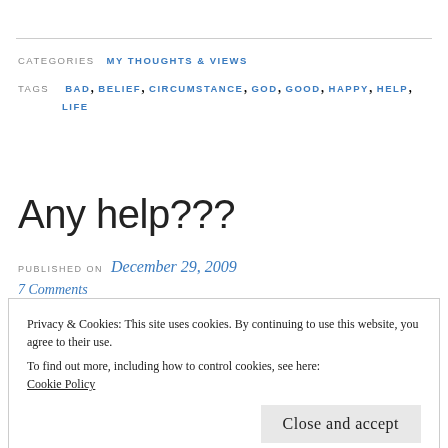CATEGORIES  MY THOUGHTS & VIEWS
TAGS  BAD, BELIEF, CIRCUMSTANCE, GOD, GOOD, HAPPY, HELP, LIFE
Any help???
PUBLISHED ON  December 29, 2009
7 Comments
Privacy & Cookies: This site uses cookies. By continuing to use this website, you agree to their use.
To find out more, including how to control cookies, see here:
Cookie Policy
Close and accept